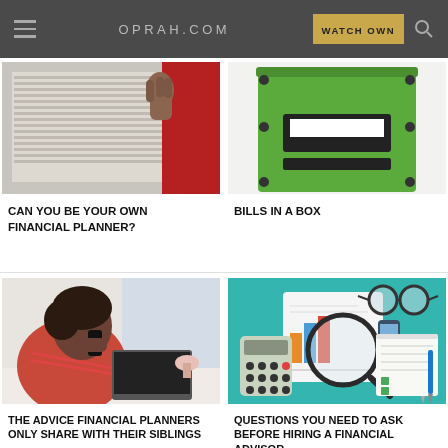OPRAH.COM  WATCH OWN
[Figure (photo): Person holding a red folder against a white background with papers]
CAN YOU BE YOUR OWN FINANCIAL PLANNER?
[Figure (photo): Green filing box with a label slot and black hardware]
BILLS IN A BOX
[Figure (photo): Woman on phone looking at a laptop in an office setting]
THE ADVICE FINANCIAL PLANNERS ONLY SHARE WITH THEIR SIBLINGS
[Figure (illustration): Flat design illustration of financial planning tools: calculator, magnifying glass, charts, phone, glasses, pen on teal background]
QUESTIONS YOU NEED TO ASK BEFORE HIRING A FINANCIAL ADVISOR